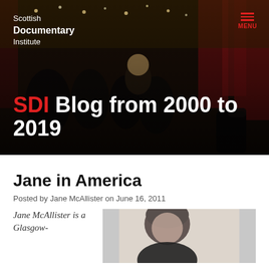[Figure (photo): Hero banner with dark overlay showing people at an event/gala in a decorated room with red curtains and string lights. Scottish Documentary Institute logo top-left, MENU icon top-right.]
SDI Blog from 2000 to 2019
Jane in America
Posted by Jane McAllister on June 16, 2011
Jane McAllister is a Glasgow-
[Figure (photo): Portrait photo of a woman with dark hair, partially visible, cropped at bottom of page.]